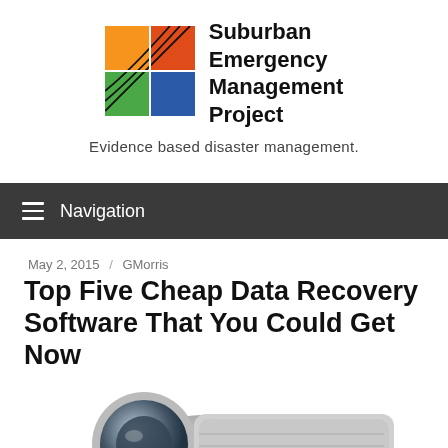[Figure (logo): Suburban Emergency Management Project logo — a 2x2 grid of colored quadrants (orange top-left, red top-right, green bottom-left, blue bottom-right) with curved black lines overlaying, forming a stylized icon]
Suburban Emergency Management Project
Evidence based disaster management.
Navigation
May 2, 2015 / GMorris
Top Five Cheap Data Recovery Software That You Could Get Now
[Figure (photo): Partial photo of a metallic/chrome object (appears to be a hard drive or similar device) visible at the bottom of the page]